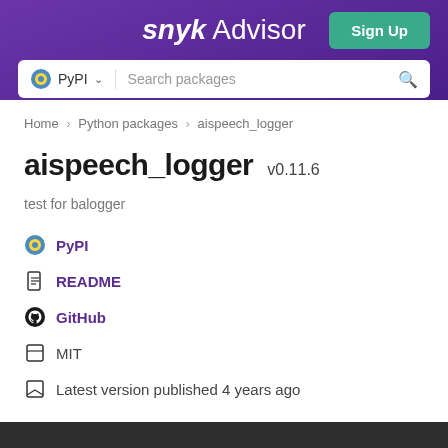snyk Advisor
PyPI  Search packages
Home > Python packages > aispeech_logger
aispeech_logger v0.11.6
test for balogger
PyPI
README
GitHub
MIT
Latest version published 4 years ago